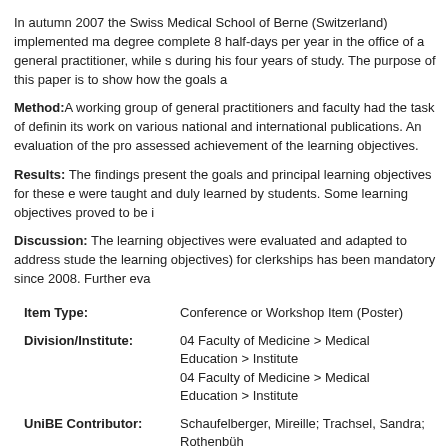In autumn 2007 the Swiss Medical School of Berne (Switzerland) implemented ma degree complete 8 half-days per year in the office of a general practitioner, while s during his four years of study. The purpose of this paper is to show how the goals a
Method:A working group of general practitioners and faculty had the task of definin its work on various national and international publications. An evaluation of the pro assessed achievement of the learning objectives.
Results: The findings present the goals and principal learning objectives for these e were taught and duly learned by students. Some learning objectives proved to be i
Discussion: The learning objectives were evaluated and adapted to address stude the learning objectives) for clerkships has been mandatory since 2008. Further eva
| Field | Value |
| --- | --- |
| Item Type: | Conference or Workshop Item (Poster) |
| Division/Institute: | 04 Faculty of Medicine > Medical Education > Institute
04 Faculty of Medicine > Medical Education > Institute |
| UniBE Contributor: | Schaufelberger, Mireille; Trachsel, Sandra; Rothenbüh |
| Subjects: | 600 Technology > 610 Medicine & health
300 Social sciences, sociology & anthropology > 360 S |
| Language: | English |
| Submitter: | Eveline Götschmann-Meile |
| Date Deposited: | 04 Oct 2013 15:13 |
| Last Modified: | 16 Jan 2017 14:58 |